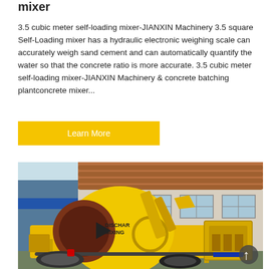mixer
3.5 cubic meter self-loading mixer-JIANXIN Machinery 3.5 square Self-Loading mixer has a hydraulic electronic weighing scale can accurately weigh sand cement and can automatically quantify the water so that the concrete ratio is more accurate. 3.5 cubic meter self-loading mixer-JIANXIN Machinery & concrete batching plantconcrete mixer...
Learn More
[Figure (photo): Yellow self-loading concrete mixer machine (JIANXIN Machinery) parked outside a building. The mixer drum is large and yellow with 'DISCHAR MIXING' text visible. The machine has a loading bucket, conveyor arm, and engine unit. A blue industrial building is in the background.]